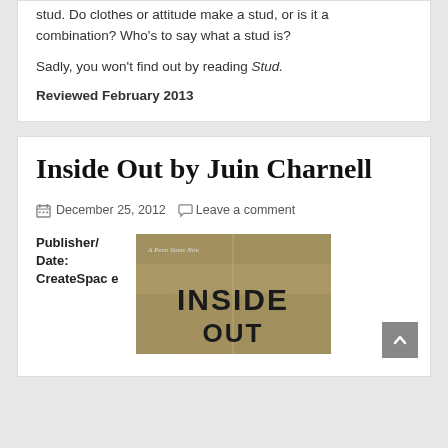stud. Do clothes or attitude make a stud, or is it a combination? Who's to say what a stud is?
Sadly, you won't find out by reading Stud.
Reviewed February 2013
Inside Out by Juin Charnell
December 25, 2012  Leave a comment
Publisher/Date: CreateSpace
[Figure (photo): Book cover for Inside Out showing stencil-style text 'INSIDE OUT' on a textured background]